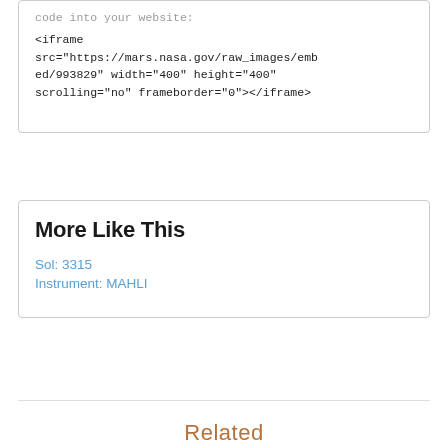code into your website:
<iframe src="https://mars.nasa.gov/raw_images/embed/993829" width="400" height="400" scrolling="no" frameborder="0"></iframe>
More Like This
Sol: 3315
Instrument: MAHLI
Related